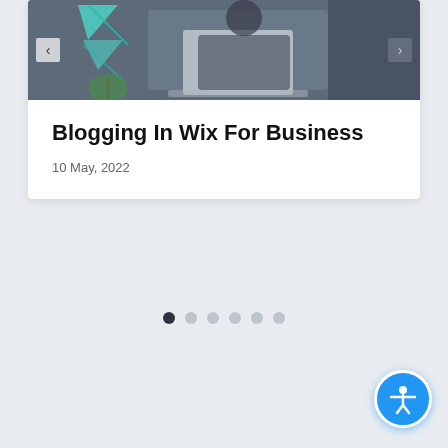[Figure (photo): Screenshot of a Wix blog post card showing a man working on a laptop with teal geometric overlays, navigation arrows, blog post title, date, and carousel dots]
Blogging In Wix For Business
10 May, 2022
[Figure (other): Carousel pagination dots — 6 dots, first one filled dark, rest grey]
[Figure (other): Accessibility button — circular blue button with person/wheelchair icon in bottom right corner]